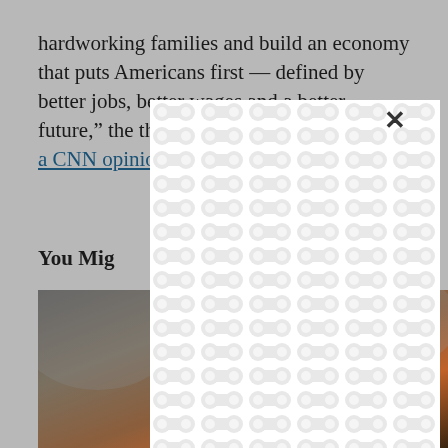hardworking families and build an economy that puts Americans first — defined by better jobs, better wages and a better future," the three House members wrote in a CNN opinion piece.
You Mig...
[Figure (photo): Close-up photo of a man smiling, wearing a red top, partially covered by an advertisement overlay with a white patterned background]